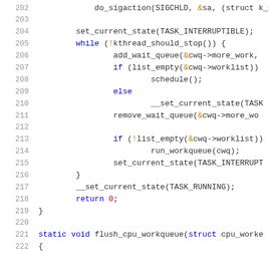Code listing lines 202-222 showing C kernel source code for a workqueue thread function and flush_cpu_workqueue function start.